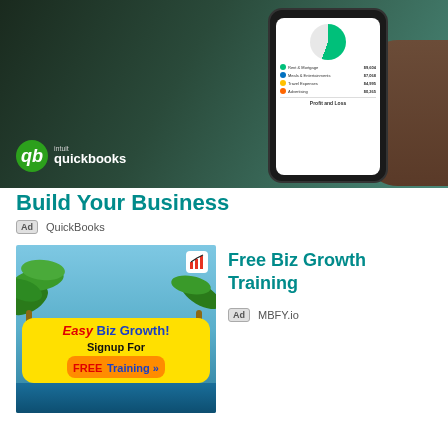[Figure (photo): Person holding a smartphone displaying QuickBooks Profit and Loss screen, with QuickBooks logo overlaid in bottom left]
Build Your Business
Ad  QuickBooks
[Figure (photo): Ad banner showing tropical beach background with palm trees and yellow banner reading: Easy Biz Growth! Signup For FREE Training >> with a chart icon]
Free Biz Growth Training
Ad  MBFY.io